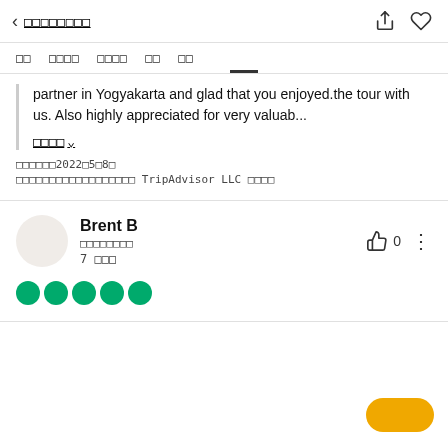< oooooooo [share] [heart]
oo | oooo | oooo | oo | oo (tabs)
partner in Yogyakarta and glad that you enjoyed.the tour with us. Also highly appreciated for very valuab...
oooo ∨ (more link)
oooooo2022o5o8o
oooooooooooooooooooo TripAdvisor LLC oooo
Brent B
oooooooo
7 ooo
0 (thumbs up count)
[Figure (other): Five green circles representing a 5-star rating]